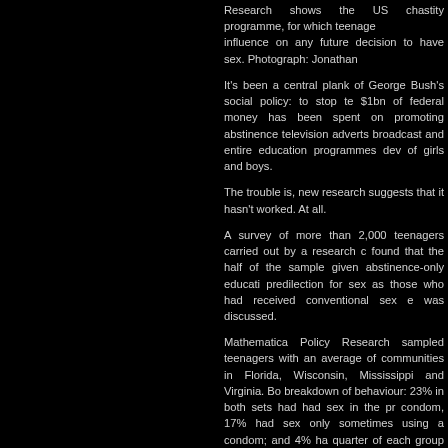Research shows the US chastity programme, for which teenage influence on any future decision to have sex. Photograph: Jonathan
It's been a central plank of George Bush's social policy: to stop te $1bn of federal money has been spent on promoting abstinence television adverts broadcast and entire education programmes dev of girls and boys.
The trouble is, new research suggests that it hasn't worked. At all.
A survey of more than 2,000 teenagers carried out by a research c found that the half of the sample given abstinence-only educati predilection for sex as those who had received conventional sex e was discussed.
Mathematica Policy Research sampled teenagers with an average of communities in Florida, Wisconsin, Mississippi and Virginia. Bo breakdown of behaviour: 23% in both sets had had sex in the pr condom, 17% had sex only sometimes using a condom; and 4% ha quarter of each group had had sex with three or more partners.
Since his days as governor of Texas, George Bush has been education programmes, which teach that keeping zipped up is unwanted pregnancy and sexually transmitted diseases, and tha human sexual activity is to risk harmful psychological and physical given a very good chance, but it's worked when it's tried. That's for
But even in 1990s Texas, where Mr Bush spent $10m a year on had the fifth highest teen pregnancy rate in the US. Over the past s programme to more than $100m a year. He recently braved ridicul 20-29, an age range in which 90% of people are sexually active.